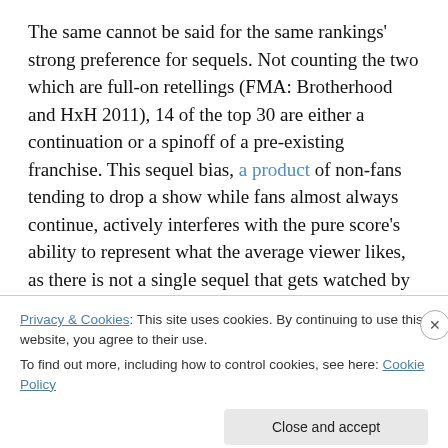The same cannot be said for the same rankings' strong preference for sequels. Not counting the two which are full-on retellings (FMA: Brotherhood and HxH 2011), 14 of the top 30 are either a continuation or a spinoff of a pre-existing franchise. This sequel bias, a product of non-fans tending to drop a show while fans almost always continue, actively interferes with the pure score's ability to represent what the average viewer likes, as there is not a single sequel that gets watched by an average sample of the anime-viewing population.
Privacy & Cookies: This site uses cookies. By continuing to use this website, you agree to their use.
To find out more, including how to control cookies, see here: Cookie Policy
Close and accept
DuckDuckGo.